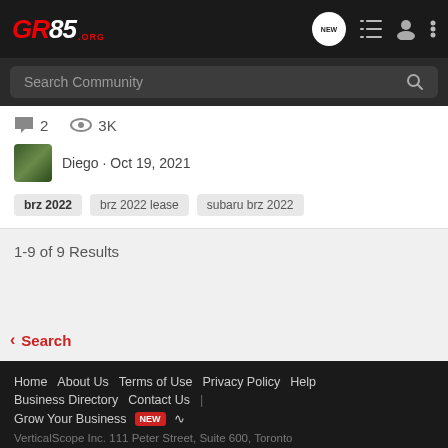GR86.ORG
Search Community
2  3K
Diego · Oct 19, 2021
brz 2022
brz 2022 lease
subaru brz 2022
1-9 of 9 Results
< Search
Home  About Us  Terms of Use  Privacy Policy  Help  Business Directory  Contact Us  |  Grow Your Business  NEW  RSS  VerticalScope Inc.  111 Peter Street, Suite 600, Toronto